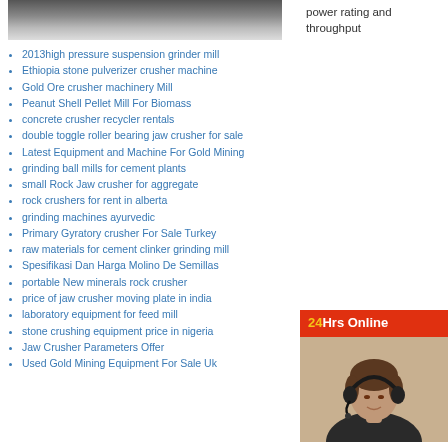[Figure (photo): Partial top image — appears to be industrial/mining equipment, cropped]
power rating and throughput
2013high pressure suspension grinder mill
Ethiopia stone pulverizer crusher machine
Gold Ore crusher machinery Mill
Peanut Shell Pellet Mill For Biomass
concrete crusher recycler rentals
double toggle roller bearing jaw crusher for sale
Latest Equipment and Machine For Gold Mining
grinding ball mills for cement plants
small Rock Jaw crusher for aggregate
rock crushers for rent in alberta
grinding machines ayurvedic
Primary Gyratory crusher For Sale Turkey
raw materials for cement clinker grinding mill
Spesifikasi Dan Harga Molino De Semillas
portable New minerals rock crusher
price of jaw crusher moving plate in india
laboratory equipment for feed mill
stone crushing equipment price in nigeria
Jaw Crusher Parameters Offer
Used Gold Mining Equipment For Sale Uk
[Figure (photo): 24Hrs Online box with photo of woman wearing headset on orange/red background header]